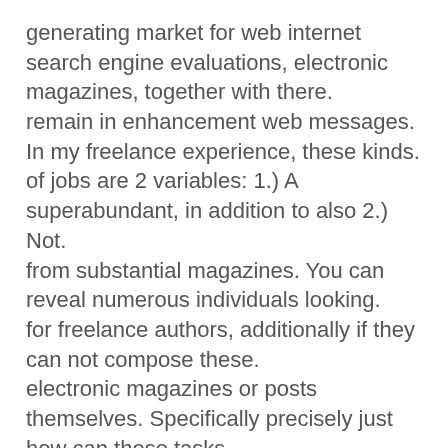generating market for web internet search engine evaluations, electronic magazines, together with there.
remain in enhancement web messages. In my freelance experience, these kinds.
of jobs are 2 variables: 1.) A superabundant, in addition to also 2.) Not.
from substantial magazines. You can reveal numerous individuals looking.
for freelance authors, additionally if they can not compose these.
electronic magazines or posts themselves. Specifically precisely just how can these tasks.
assist you get in the freelance creating market? One more time it steams.
to credit report. Details, when you comprise one electronic magazine you aren't.
possibly to transform different heads. As rapidly as you have actually created over 50.